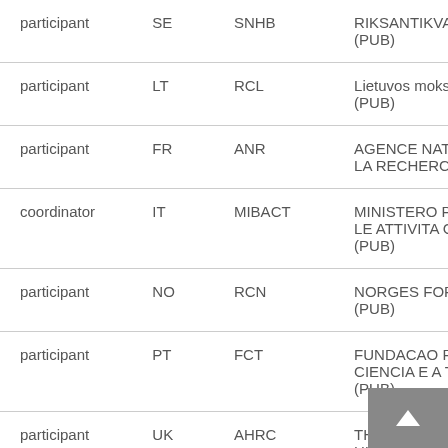| Role | Country | Short name | Organization |
| --- | --- | --- | --- |
| participant | SE | SNHB | RIKSANTIKVARIEAMBETET (PUB) |
| participant | LT | RCL | Lietuvos mokslo taryba (PUB) |
| participant | FR | ANR | AGENCE NATIONALE DE LA RECHERCHE (PUB) |
| coordinator | IT | MIBACT | MINISTERO PER I BENI E LE ATTIVITA CULTURALI (PUB) |
| participant | NO | RCN | NORGES FORSKNINGSRAD (PUB) |
| participant | PT | FCT | FUNDACAO PARA A CIENCIA E A TECNOLOGIA (PUB) |
| participant | UK | AHRC | THE ARTS AND HUMANITIES RESEARCH COUNCIL |